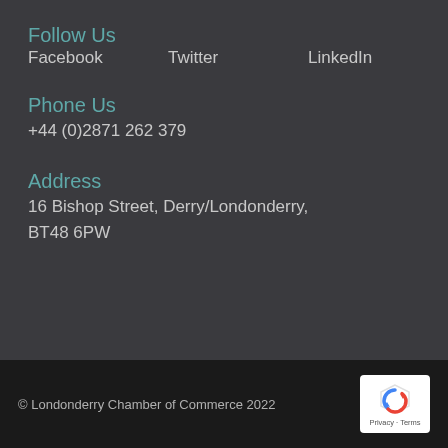Follow Us
Facebook    Twitter    LinkedIn
Phone Us
+44 (0)2871 262 379
Address
16 Bishop Street, Derry/Londonderry, BT48 6PW
© Londonderry Chamber of Commerce 2022